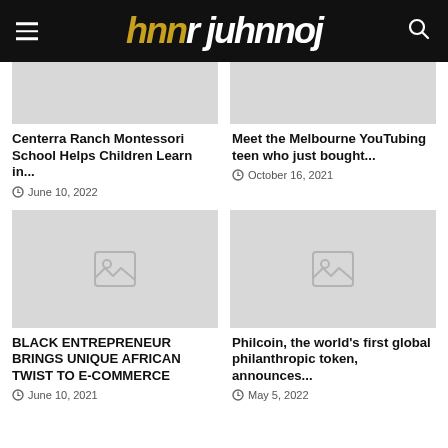HMM r juhhoj
[Figure (photo): Placeholder image top left (grey box)]
[Figure (photo): Placeholder image top right (grey box)]
Centerra Ranch Montessori School Helps Children Learn in...
June 10, 2022
Meet the Melbourne YouTubing teen who just bought...
October 16, 2021
[Figure (photo): Placeholder image bottom left (grey box with image icon)]
[Figure (photo): Placeholder image bottom right (grey box with image icon)]
BLACK ENTREPRENEUR BRINGS UNIQUE AFRICAN TWIST TO E-COMMERCE
June 10, 2021
Philcoin, the world's first global philanthropic token, announces...
May 5, 2022